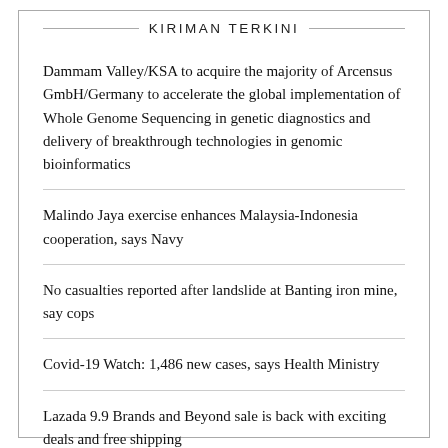KIRIMAN TERKINI
Dammam Valley/KSA to acquire the majority of Arcensus GmbH/Germany to accelerate the global implementation of Whole Genome Sequencing in genetic diagnostics and delivery of breakthrough technologies in genomic bioinformatics
Malindo Jaya exercise enhances Malaysia-Indonesia cooperation, says Navy
No casualties reported after landslide at Banting iron mine, say cops
Covid-19 Watch: 1,486 new cases, says Health Ministry
Lazada 9.9 Brands and Beyond sale is back with exciting deals and free shipping